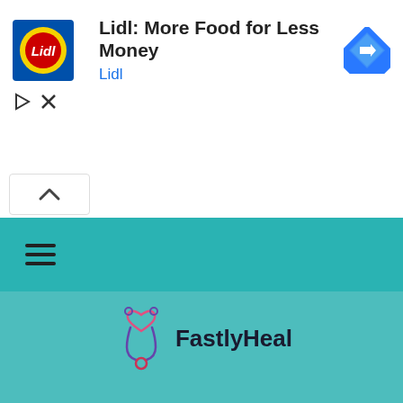[Figure (screenshot): Lidl advertisement banner showing Lidl logo, text 'Lidl: More Food for Less Money', brand name 'Lidl' in blue, navigation arrow icon, play and close icons]
[Figure (screenshot): Collapse/chevron up button row]
[Figure (screenshot): Teal navigation bar with hamburger menu icon]
[Figure (logo): FastlyHeal logo with stethoscope icon and text 'FastlyHeal' on teal background]